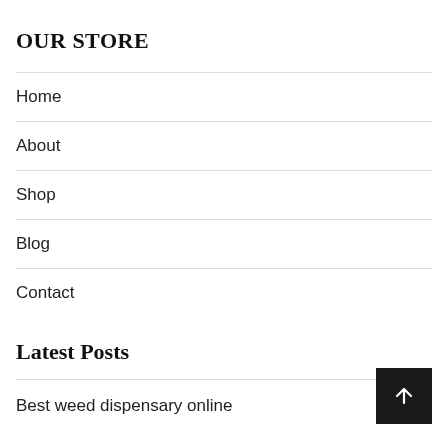OUR STORE
Home
About
Shop
Blog
Contact
Latest Posts
Best weed dispensary online